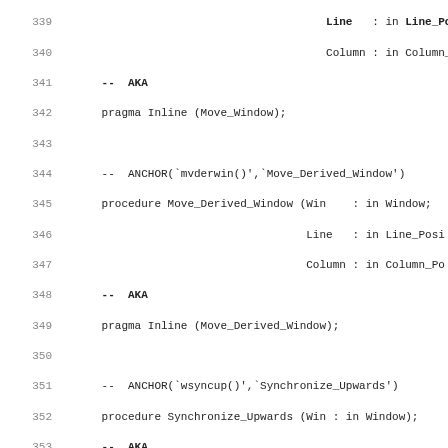Ada source code listing lines 340-371 showing procedure declarations for Move_Derived_Window, Synchronize_Upwards, Synchronize_Downwards, Set_Synch_Mode, and Add with inline pragmas and anchors.